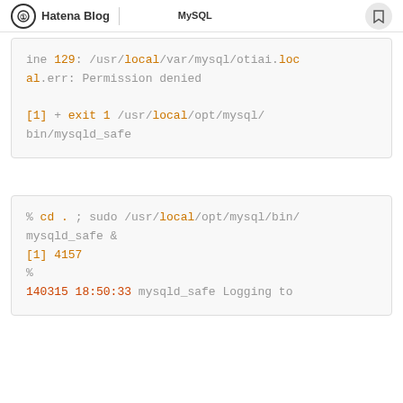Hatena Blog | MySQLについての記事
ine 129: /usr/local/var/mysql/otiai.local.err: Permission denied

[1]  + exit 1      /usr/local/opt/mysql/bin/mysqld_safe
解決策についての説明テキスト
% cd . ; sudo /usr/local/opt/mysql/bin/mysqld_safe &
[1] 4157
%
140315 18:50:33 mysqld_safe Logging to